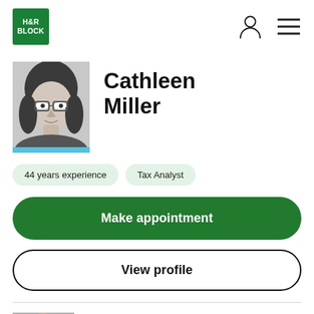[Figure (logo): H&R Block green logo with white text]
[Figure (photo): Black and white portrait photo of Cathleen Miller, a middle-aged woman with glasses and shoulder-length dark hair, with a light blue bottom border]
Cathleen Miller
44 years experience
Tax Analyst
Make appointment
View profile
[Figure (photo): Partial black and white portrait photo of a second tax professional, cropped at bottom of page]